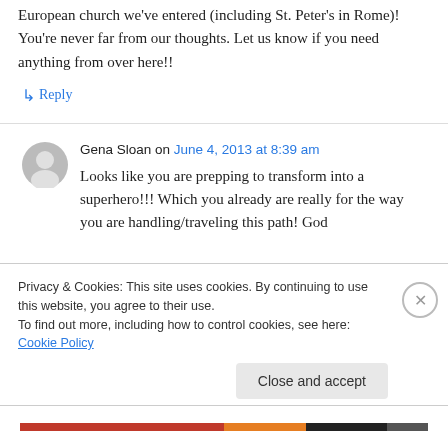European church we've entered (including St. Peter's in Rome)! You're never far from our thoughts. Let us know if you need anything from over here!!
↳ Reply
Gena Sloan on June 4, 2013 at 8:39 am
Looks like you are prepping to transform into a superhero!!! Which you already are really for the way you are handling/traveling this path! God
Privacy & Cookies: This site uses cookies. By continuing to use this website, you agree to their use.
To find out more, including how to control cookies, see here: Cookie Policy
Close and accept